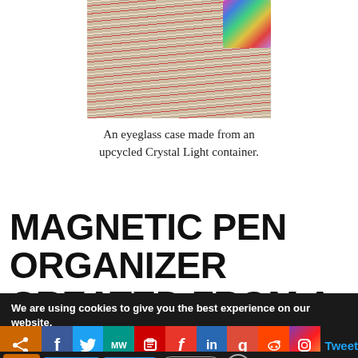[Figure (photo): Photo of colorful striped material with a bright multicolored patterned object in the top-right corner, representing an eyeglass case made from an upcycled Crystal Light container.]
An eyeglass case made from an upcycled Crystal Light container.
MAGNETIC PEN ORGANIZER CREATED FROM A SPICE TIN
We are using cookies to give you the best experience on our website.
You can find out more about which cookies we are using or
Tweet
Accept   Reject   Settings   ✕